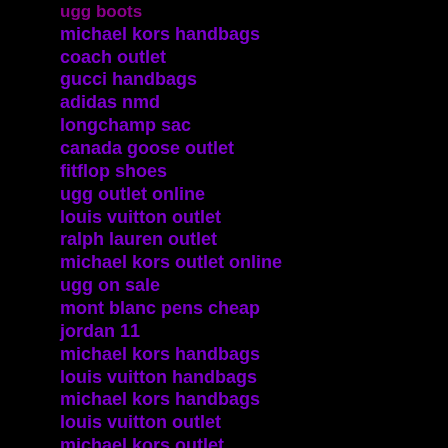ugg boots
michael kors handbags
coach outlet
gucci handbags
adidas nmd
longchamp sac
canada goose outlet
fitflop shoes
ugg outlet online
louis vuitton outlet
ralph lauren outlet
michael kors outlet online
ugg on sale
mont blanc pens cheap
jordan 11
michael kors handbags
louis vuitton handbags
michael kors handbags
louis vuitton outlet
michael kors outlet
toms shoes
uggs outlet
coach outlet online